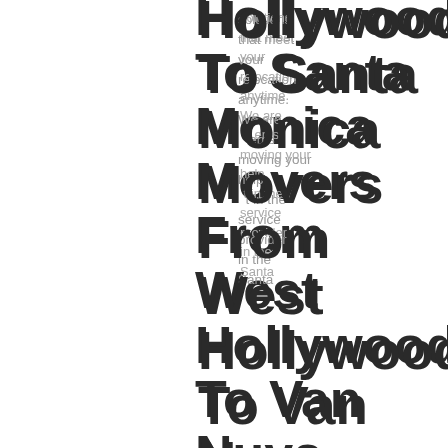Hollywood To Santa Monica Movers From West Hollywood To Van Nuys
solutions that meet your relocation anytime. We are moving your help. t in the service providers in the Santa
Movers From West Hollywood To Los Angeles Movers
Our movers in Van Nuys are always happy to provide Do you